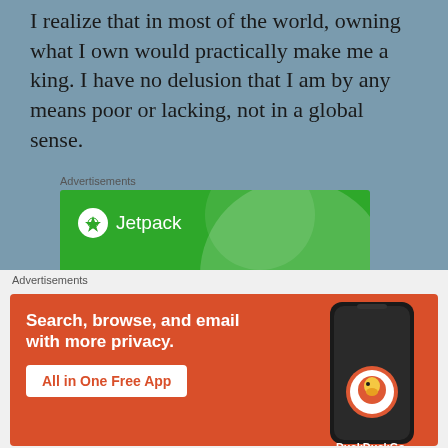I realize that in most of the world, owning what I own would practically make me a king.  I have no delusion that I am by any means poor or lacking, not in a global sense.
[Figure (other): Jetpack advertisement banner on green background with logo, circle graphics, and text 'We guard your WordPress site. You run your business.']
[Figure (other): DuckDuckGo advertisement on orange-red background with text 'Search, browse, and email with more privacy. All in One Free App' and a smartphone image with DuckDuckGo logo.]